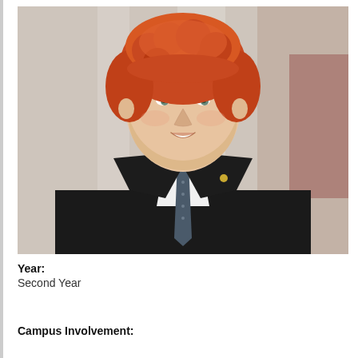[Figure (photo): Professional headshot of a young man with curly red hair, wearing a black suit, white dress shirt, and dark patterned tie with a gold pin on the lapel, photographed against a blurred indoor background]
Year: Second Year
Campus Involvement: